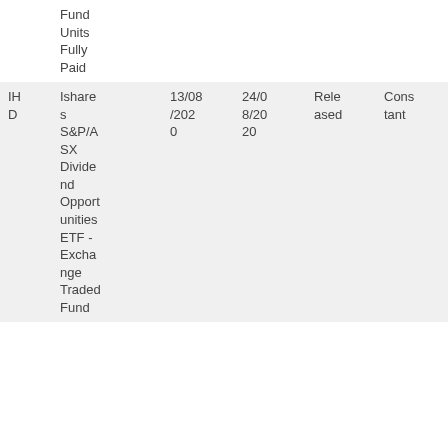| Ticker | Name | Date1 | Date2 | Status | Type |
| --- | --- | --- | --- | --- | --- |
|  | Fund Units Fully Paid |  |  |  |  |
| IHD | Ishares S&P/ASX Dividend Opportunities ETF - Exchange Traded Fund | 13/08/2020 | 24/08/2020 | Released | Constant |